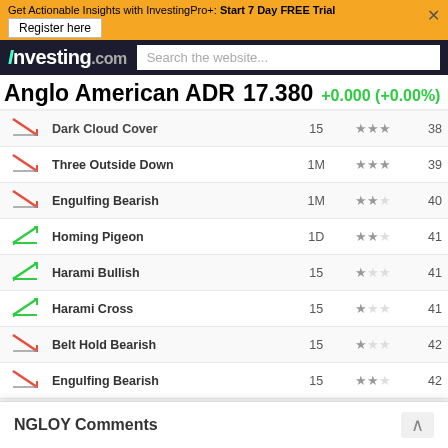Get Actionable Insights with InvestingPro+: Start 7 Day FREE Trial | Register here
[Figure (logo): Investing.com logo with search bar]
Anglo American ADR  17.380  +0.000 (+0.00%)
| Icon | Pattern | Timeframe | Reliability | Candle |
| --- | --- | --- | --- | --- |
| bearish | Dark Cloud Cover | 15 | ★★★ | 38 |
| bearish | Three Outside Down | 1M | ★★★ | 39 |
| bearish | Engulfing Bearish | 1M | ★★ | 40 |
| bullish | Homing Pigeon | 1D | ★★ | 41 |
| bullish | Harami Bullish | 15 | ★ | 41 |
| bullish | Harami Cross | 15 | ★ | 41 |
| bearish | Belt Hold Bearish | 15 | ★ | 42 |
| bearish | Engulfing Bearish | 15 | ★★ | 42 |
| bullish | Belt Hold Bullish | 5H | ★ | 46 |
| bullish | Three Inside Up | 30 | ★★★ | 47 |
| bearish | Falling Three Methods | 1W | ★★★ | 48 |
| bearish | Belt Hold Bearish | 1H | ★ | 48 |
| bullish | Inverted Hammer | 15 | ★ | 49 |
| bullish | Bullish d... | — | — | — |
NGLOY Comments